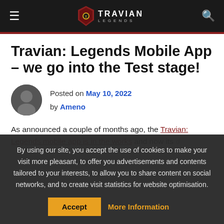Travian: Legends — site header with hamburger menu, logo, and search icon
Travian: Legends Mobile App – we go into the Test stage!
Posted on May 10, 2022 by Ameno
As announced a couple of months ago, the Travian: Legends mobile app is in the works and now its development has reached the public Test stage.
By using our site, you accept the use of cookies to make your visit more pleasant, to offer you advertisements and contents tailored to your interests, to allow you to share content on social networks, and to create visit statistics for website optimisation.